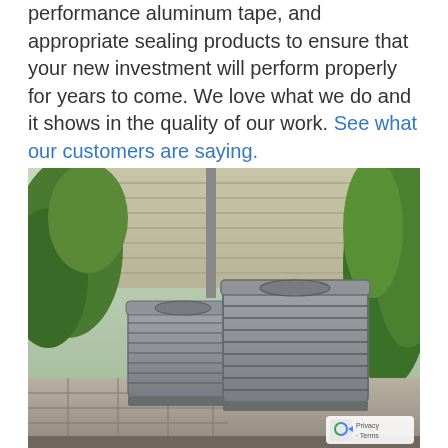performance aluminum tape, and appropriate sealing products to ensure that your new investment will perform properly for years to come. We love what we do and it shows in the quality of our work. See what our customers are saying.
[Figure (photo): Two outdoor HVAC air conditioning condenser units sitting on concrete pads on a paved patio, surrounded by green shrubs and plants against a house siding background. A reCAPTCHA Privacy-Terms badge is visible in the bottom right corner of the image.]